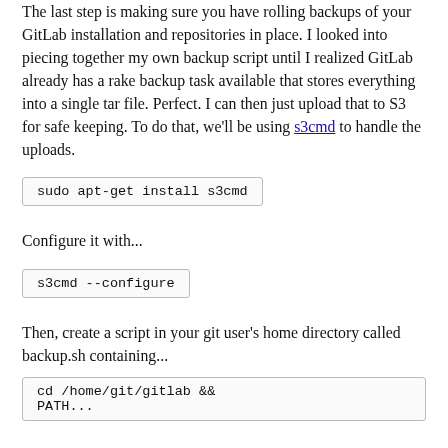The last step is making sure you have rolling backups of your GitLab installation and repositories in place. I looked into piecing together my own backup script until I realized GitLab already has a rake backup task available that stores everything into a single tar file. Perfect. I can then just upload that to S3 for safe keeping. To do that, we'll be using s3cmd to handle the uploads.
Configure it with...
Then, create a script in your git user's home directory called backup.sh containing...